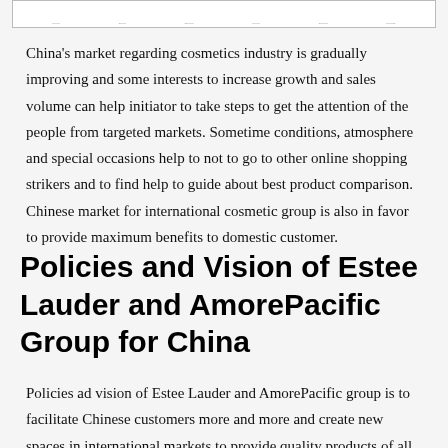[Figure (other): Partial bottom edge of a chart or table visible at the top of the page]
China's market regarding cosmetics industry is gradually improving and some interests to increase growth and sales volume can help initiator to take steps to get the attention of the people from targeted markets. Sometime conditions, atmosphere and special occasions help to not to go to other online shopping strikers and to find help to guide about best product comparison. Chinese market for international cosmetic group is also in favor to provide maximum benefits to domestic customer.
Policies and Vision of Estee Lauder and AmorePacific Group for China
Policies ad vision of Estee Lauder and AmorePacific group is to facilitate Chinese customers more and more and create new spaces in international markets to provide quality products of all type according